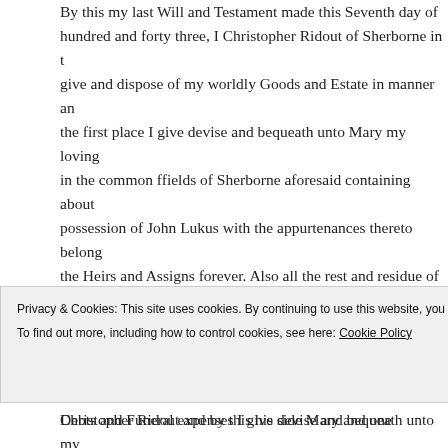By this my last Will and Testament made this Seventh day of hundred and forty three, I Christopher Ridout of Sherborne in t give and dispose of my worldly Goods and Estate in manner an the first place I give devise and bequeath unto Mary my loving in the common ffields of Sherborne aforesaid containing about possession of John Lukus with the appurtenances thereto belong the Heirs and Assigns forever. Also all the rest and residue of m whatsoever and wheresoever the same do lye and whereof I sha way intituled unto. And also all singular my Goods Chattles & Debts and Funeral expenses I give devise and bequeath unto my Executors Admon and Assigns respectively. And I do hereby ma Wife Mary sole executrix of this my last Will and Testament her Wills by me at any time heretofore made. In Witness whereof I hereunto sett my Hand and Seal the Day and Year above written
Privacy & Cookies: This site uses cookies. By continuing to use this website, you agree to their use. To find out more, including how to control cookies, see here: Cookie Policy
Close and accept
Christopher Ridout and by this his side Mary and one